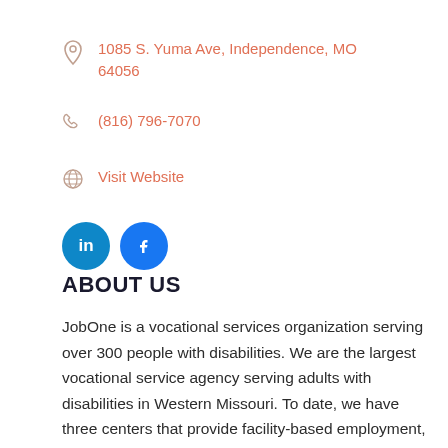1085 S. Yuma Ave, Independence, MO 64056
(816) 796-7070
Visit Website
[Figure (illustration): LinkedIn and Facebook social media icon buttons in blue circles]
ABOUT US
JobOne is a vocational services organization serving over 300 people with disabilities. We are the largest vocational service agency serving adults with disabilities in Western Missouri. To date, we have three centers that provide facility-based employment, one